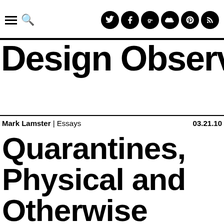Design Observer
Mark Lamster | Essays   03.21.10
Quarantines, Physical and Otherwise